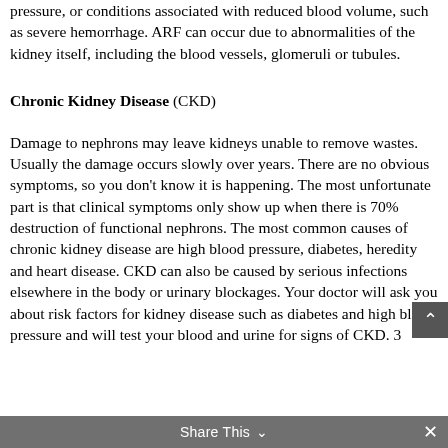pressure, or conditions associated with reduced blood volume, such as severe hemorrhage. ARF can occur due to abnormalities of the kidney itself, including the blood vessels, glomeruli or tubules.
Chronic Kidney Disease (CKD)
Damage to nephrons may leave kidneys unable to remove wastes. Usually the damage occurs slowly over years. There are no obvious symptoms, so you don't know it is happening. The most unfortunate part is that clinical symptoms only show up when there is 70% destruction of functional nephrons. The most common causes of chronic kidney disease are high blood pressure, diabetes, heredity and heart disease. CKD can also be caused by serious infections elsewhere in the body or urinary blockages. Your doctor will ask you about risk factors for kidney disease such as diabetes and high blood pressure and will test your blood and urine for signs of CKD. 3